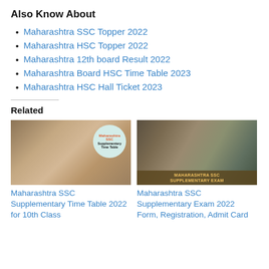Also Know About
Maharashtra SSC Topper 2022
Maharashtra HSC Topper 2022
Maharashtra 12th board Result 2022
Maharashtra Board HSC Time Table 2023
Maharashtra HSC Hall Ticket 2023
Related
[Figure (photo): Person working on laptop at kitchen counter with Maharashtra SSC Supplementary Time Table circular overlay text]
Maharashtra SSC Supplementary Time Table 2022 for 10th Class
[Figure (photo): Students studying together with books and laptop with Maharashtra SSC Supplementary Exam banner at bottom]
Maharashtra SSC Supplementary Exam 2022 Form, Registration, Admit Card